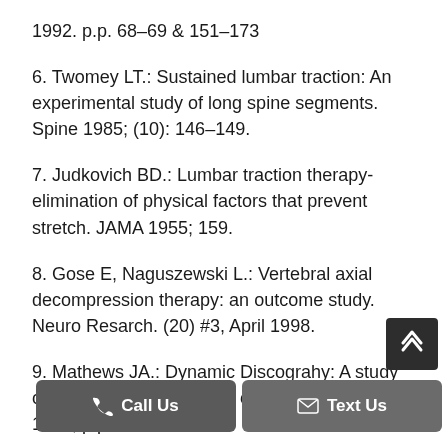1992. p.p. 68-69 & 151-173
6. Twomey LT.: Sustained lumbar traction: An experimental study of long spine segments. Spine 1985; (10): 146-149.
7. Judkovich BD.: Lumbar traction therapy-elimination of physical factors that prevent stretch. JAMA 1955; 159.
8. Gose E, Naguszewski L.: Vertebral axial decompression therapy: an outcome study. Neuro Resarch. (20) #3, April 1998.
9. Mathews JA.: Dynamic Discograhy: A study of lumbar traction. Annals of Phy Med, IX (7) 1968, p.p. 265-279.
10. Colo...ect...on...by (partially obscured)